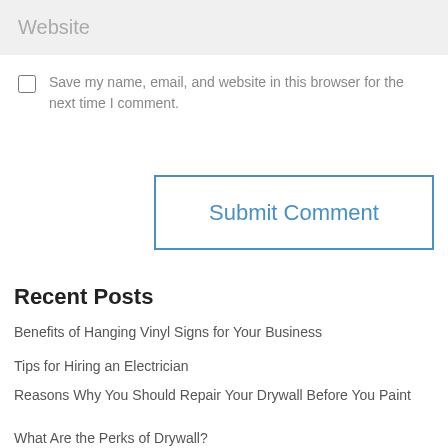Website
Save my name, email, and website in this browser for the next time I comment.
Submit Comment
Recent Posts
Benefits of Hanging Vinyl Signs for Your Business
Tips for Hiring an Electrician
Reasons Why You Should Repair Your Drywall Before You Paint
What Are the Perks of Drywall?
Ideas to Keep a Nice Ambiance for a Student Bedroom